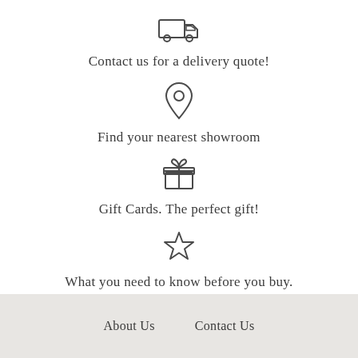[Figure (illustration): Truck/delivery van icon (outline style)]
Contact us for a delivery quote!
[Figure (illustration): Map pin / location marker icon (outline style)]
Find your nearest showroom
[Figure (illustration): Gift box icon (outline style)]
Gift Cards. The perfect gift!
[Figure (illustration): Star icon (outline style)]
What you need to know before you buy.
About Us   Contact Us